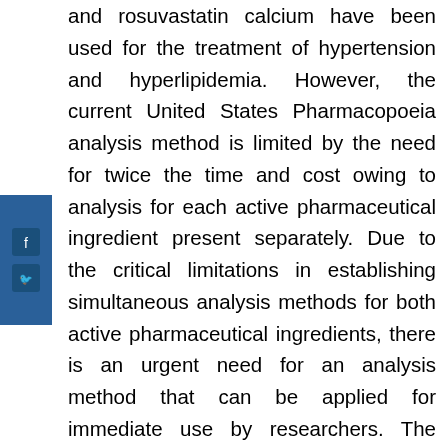and rosuvastatin calcium have been used for the treatment of hypertension and hyperlipidemia. However, the current United States Pharmacopoeia analysis method is limited by the need for twice the time and cost owing to analysis for each active pharmaceutical ingredient present separately. Due to the critical limitations in establishing simultaneous analysis methods for both active pharmaceutical ingredients, there is an urgent need for an analysis method that can be applied for immediate use by researchers. The objective of this study was to develop and validate a simultaneous quantitative assay using a rapid and selective high performance liquid chromatography method for the analysis of rosuvastatin calcium and telmisartan in fixed dose combination tablets...